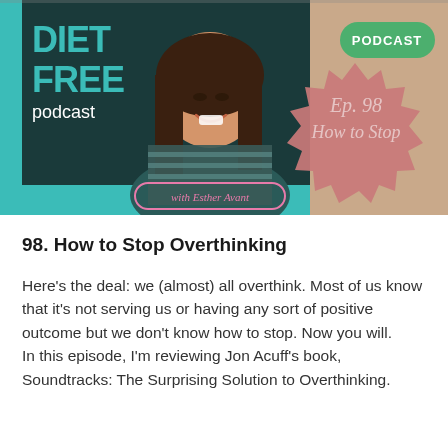[Figure (illustration): Podcast cover art for 'Diet Free Podcast with Esther Avant'. Shows a woman with long dark hair wearing a striped shirt against a teal/dark background. Top left shows 'DIET FREE podcast' in teal and white text. Top right has a green oval badge saying 'PODCAST'. A pink starburst shape on the right contains italic text 'Ep. 98 How to Stop' in light pink script. Bottom center has a decorative label 'with Esther Avant' in a pink outlined oval.]
98. How to Stop Overthinking
Here's the deal: we (almost) all overthink. Most of us know that it's not serving us or having any sort of positive outcome but we don't know how to stop. Now you will.
In this episode, I'm reviewing Jon Acuff's book, Soundtracks: The Surprising Solution to Overthinking.